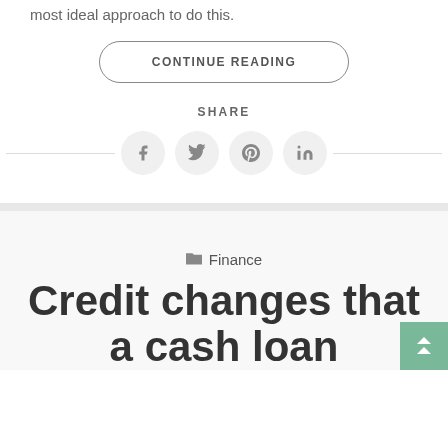most ideal approach to do this.
CONTINUE READING
SHARE
[Figure (other): Social share icons for Facebook, Twitter, Pinterest, and LinkedIn arranged in a row with horizontal lines on either side]
Finance
Credit changes that a cash loan